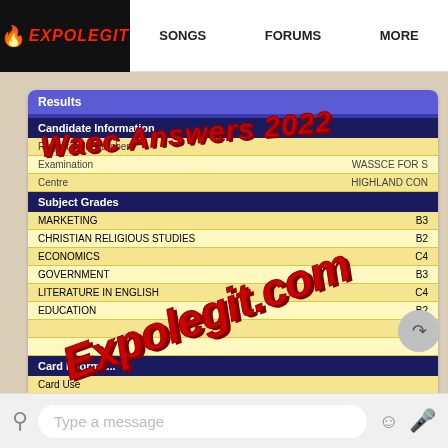EXPOLEGIT   SONGS   FORUMS   MORE
[Figure (screenshot): WhatsApp chat screenshot showing a WAEC result card with Subject Grades: MARKETING B3, CHRISTIAN RELIGIOUS STUDIES B2, ECONOMICS C4, GOVERNMENT B3, LITERATURE IN ENGLISH C4, EDUCATION B2, (subject) B3, (subject) A1. Overlaid with watermarks 'Waec Answers 2022' and 'Expolegit.com'. Message text: 'Legit is the best. Confaaam' at 10:08 PM.]
| Subject | Grade |
| --- | --- |
| MARKETING | B3 |
| CHRISTIAN RELIGIOUS STUDIES | B2 |
| ECONOMICS | C4 |
| GOVERNMENT | B3 |
| LITERATURE IN ENGLISH | C4 |
| EDUCATION | B2 |
|  | B3 |
|  | A1 |
Legit is the best. Confaaam
10:08 PM
Type a message